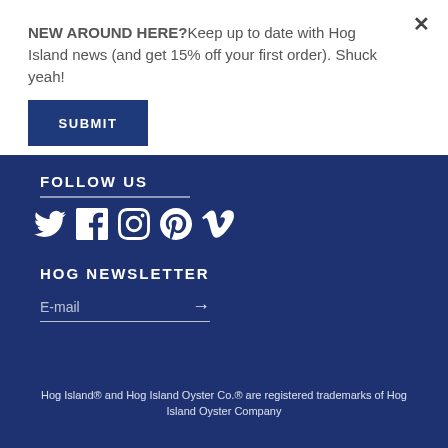NEW AROUND HERE?Keep up to date with Hog Island news (and get 15% off your first order). Shuck yeah!
SUBMIT
FOLLOW US
[Figure (illustration): Social media icons: Twitter, Facebook, Instagram, Pinterest, Vimeo in white on dark blue background]
HOG NEWSLETTER
E-mail
Hog Island® and Hog Island Oyster Co.® are registered trademarks of Hog Island Oyster Company